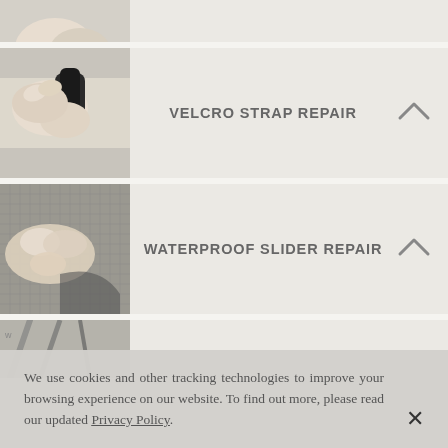[Figure (photo): Partial view of a hand/arm at the top of the page, cropped card]
[Figure (photo): Hands manipulating a velcro strap on a black fabric item]
VELCRO STRAP REPAIR
[Figure (photo): Hands holding a waterproof zipper/slider on a grey bag]
WATERPROOF SLIDER REPAIR
[Figure (photo): Partial view of a bag with straps at the bottom, cropped card]
We use cookies and other tracking technologies to improve your browsing experience on our website. To find out more, please read our updated Privacy Policy.